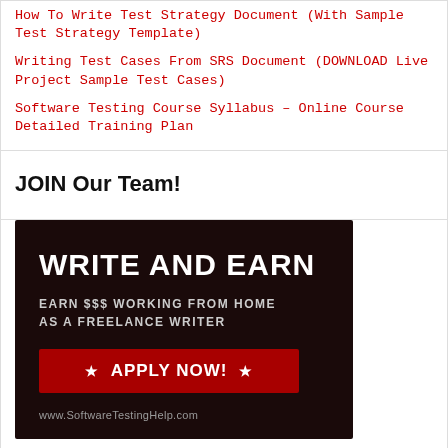How To Write Test Strategy Document (With Sample Test Strategy Template)
Writing Test Cases From SRS Document (DOWNLOAD Live Project Sample Test Cases)
Software Testing Course Syllabus – Online Course Detailed Training Plan
JOIN Our Team!
[Figure (infographic): Dark banner ad with white bold text 'WRITE AND EARN', subtitle 'EARN $$$ WORKING FROM HOME AS A FREELANCE WRITER', a red 'APPLY NOW!' button with stars, and URL www.SoftwareTestingHelp.com at the bottom.]